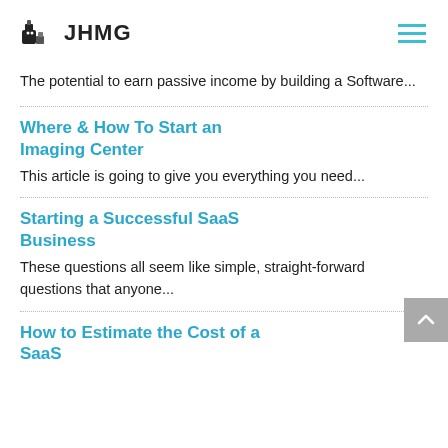JHMG
The potential to earn passive income by building a Software...
Where & How To Start an Imaging Center
This article is going to give you everything you need...
Starting a Successful SaaS Business
These questions all seem like simple, straight-forward questions that anyone...
How to Estimate the Cost of a SaaS